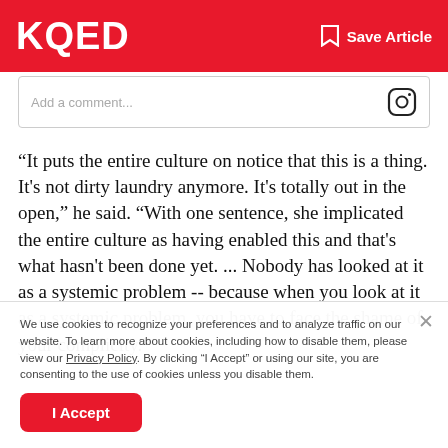KQED | Save Article
Add a comment...
“It puts the entire culture on notice that this is a thing. It's not dirty laundry anymore. It's totally out in the open,” he said. “With one sentence, she implicated the entire culture as having enabled this and that's what hasn't been done yet. ... Nobody has looked at it as a systemic problem -- because when you look at it as a systemic problem, you have to face the shame of your complicity.”
We use cookies to recognize your preferences and to analyze traffic on our website. To learn more about cookies, including how to disable them, please view our Privacy Policy. By clicking “I Accept” or using our site, you are consenting to the use of cookies unless you disable them.
I Accept